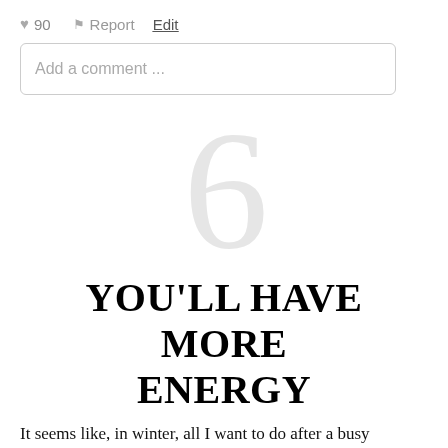♥ 90   ⚑ Report   Edit
Add a comment ...
6
YOU'LL HAVE MORE ENERGY
It seems like, in winter, all I want to do after a busy